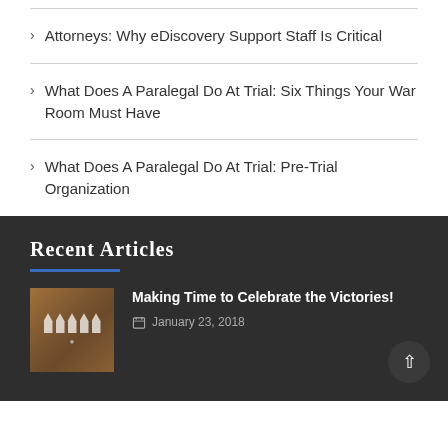Attorneys: Why eDiscovery Support Staff Is Critical
What Does A Paralegal Do At Trial: Six Things Your War Room Must Have
What Does A Paralegal Do At Trial: Pre-Trial Organization
Recent Articles
Making Time to Celebrate the Victories!
January 23, 2018